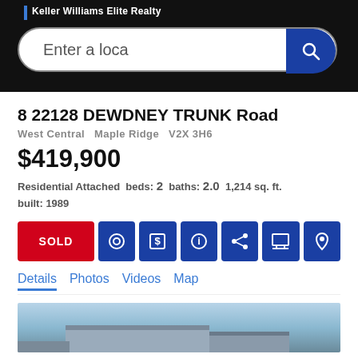Keller Williams Elite Realty
[Figure (screenshot): Search bar with 'Enter a loca' text and blue search button with magnifying glass icon]
8 22128 DEWDNEY TRUNK Road
West Central   Maple Ridge   V2X 3H6
$419,900
Residential Attached  beds: 2  baths: 2.0  1,214 sq. ft. built: 1989
[Figure (infographic): Action buttons row: SOLD (red), camera icon, dollar icon, info icon, share icon, print icon, map pin icon (all blue)]
Details  Photos  Videos  Map
[Figure (photo): Partial property exterior photo showing roofline against blue sky]